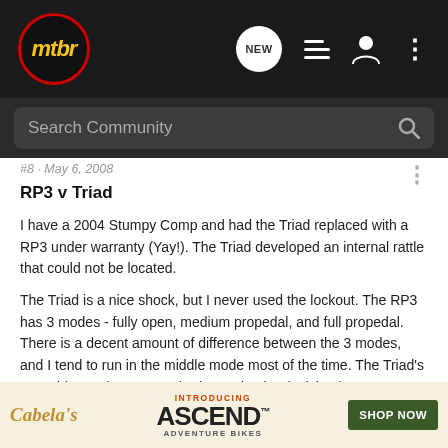mtbr - navigation bar with logo, NEW, list, profile, and more icons
Search Community
#8 · May 6, 2008
RP3 v Triad
I have a 2004 Stumpy Comp and had the Triad replaced with a RP3 under warranty (Yay!). The Triad developed an internal rattle that could not be located.
The Triad is a nice shock, but I never used the lockout. The RP3 has 3 modes - fully open, medium propedal, and full propedal. There is a decent amount of difference between the 3 modes, and I tend to run in the middle mode most of the time. The Triad's 2 'usable' modes meant I had to make the decision between having too much propedal (a bit harsh on the small stuff), o... RP3 outperfo... er the
[Figure (screenshot): Cabela's 'Introducing ASCEND Adventure Bikes' advertisement banner with SHOP NOW button]